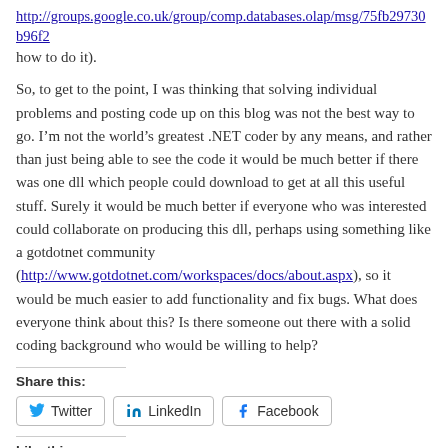http://groups.google.co.uk/group/comp.databases.olap/msg/75fb29730b96f2... how to do it).
So, to get to the point, I was thinking that solving individual problems and posting code up on this blog was not the best way to go. I'm not the world's greatest .NET coder by any means, and rather than just being able to see the code it would be much better if there was one dll which people could download to get at all this useful stuff. Surely it would be much better if everyone who was interested could collaborate on producing this dll, perhaps using something like a gotdotnet community (http://www.gotdotnet.com/workspaces/docs/about.aspx), so it would be much easier to add functionality and fix bugs. What does everyone think about this? Is there someone out there with a solid coding background who would be willing to help?
Share this:
Twitter LinkedIn Facebook
Like this:
Like